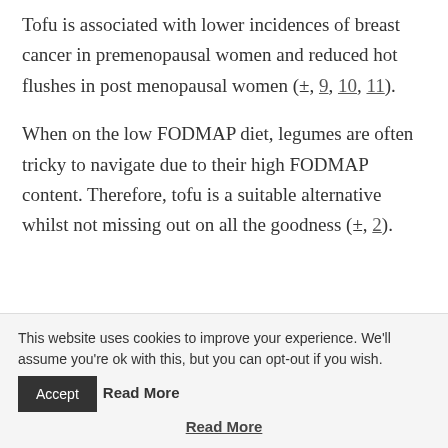Tofu is associated with lower incidences of breast cancer in premenopausal women and reduced hot flushes in post menopausal women (±, 9, 10, 11).
When on the low FODMAP diet, legumes are often tricky to navigate due to their high FODMAP content. Therefore, tofu is a suitable alternative whilst not missing out on all the goodness (±, 2).
This website uses cookies to improve your experience. We'll assume you're ok with this, but you can opt-out if you wish. [Accept] Read More